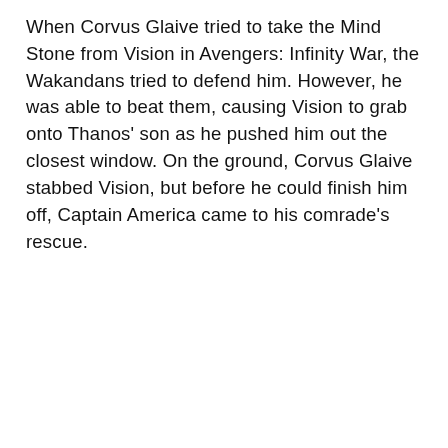When Corvus Glaive tried to take the Mind Stone from Vision in Avengers: Infinity War, the Wakandans tried to defend him. However, he was able to beat them, causing Vision to grab onto Thanos' son as he pushed him out the closest window. On the ground, Corvus Glaive stabbed Vision, but before he could finish him off, Captain America came to his comrade's rescue.
ADVERTISEMENT